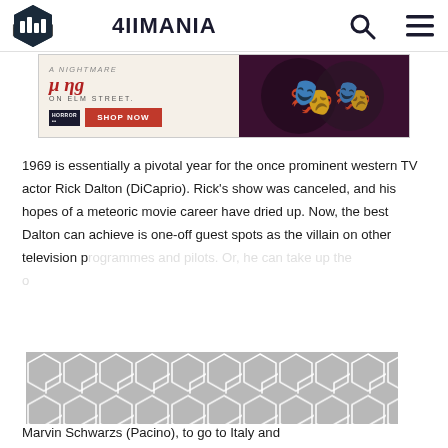4IIMANIA
[Figure (photo): Advertisement banner for Horror merchandise featuring Nightmare on Elm Street themed products with SHOP NOW button and horror characters on the right side]
1969 is essentially a pivotal year for the once prominent western TV actor Rick Dalton (DiCaprio). Rick's show was canceled, and his hopes of a meteoric movie career have dried up. Now, the best Dalton can achieve is one-off guest spots as the villain on other television programmes and pilots. Or, he can take up the offer of his stunt double and close friend Marvin Schwarzs (Pacino), to go to Italy and